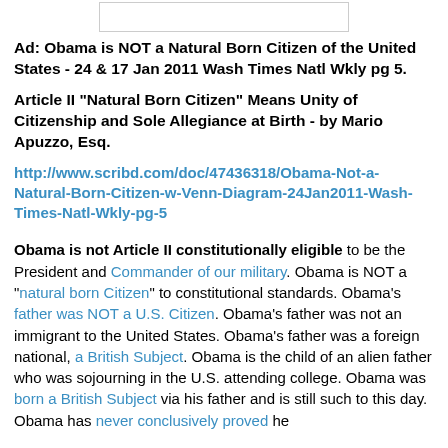[Figure (other): Small white rectangle/image placeholder at top of page]
Ad: Obama is NOT a Natural Born Citizen of the United States - 24 & 17 Jan 2011 Wash Times Natl Wkly pg 5.
Article II "Natural Born Citizen" Means Unity of Citizenship and Sole Allegiance at Birth - by Mario Apuzzo, Esq.
http://www.scribd.com/doc/47436318/Obama-Not-a-Natural-Born-Citizen-w-Venn-Diagram-24Jan2011-Wash-Times-Natl-Wkly-pg-5
Obama is not Article II constitutionally eligible to be the President and Commander of our military. Obama is NOT a "natural born Citizen" to constitutional standards. Obama's father was NOT a U.S. Citizen. Obama's father was not an immigrant to the United States. Obama's father was a foreign national, a British Subject. Obama is the child of an alien father who was sojourning in the U.S. attending college. Obama was born a British Subject via his father and is still such to this day. Obama has never conclusively proved he